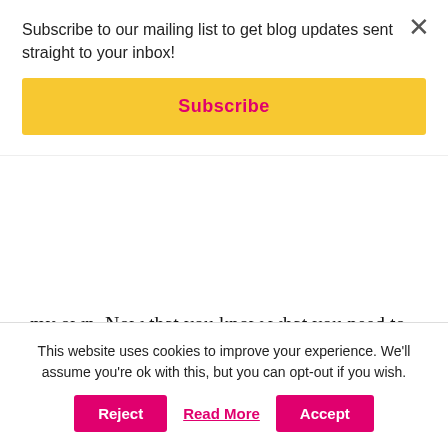Subscribe to our mailing list to get blog updates sent straight to your inbox!
Subscribe
my own. Now that you know what you need to do, the next step is for you to do it! I'm here if you ever need to vent to a fellow mama. We got this!
REPLY
OH TO BE A MUSE
This website uses cookies to improve your experience. We'll assume you're ok with this, but you can opt-out if you wish.
Accept
Reject
Read More